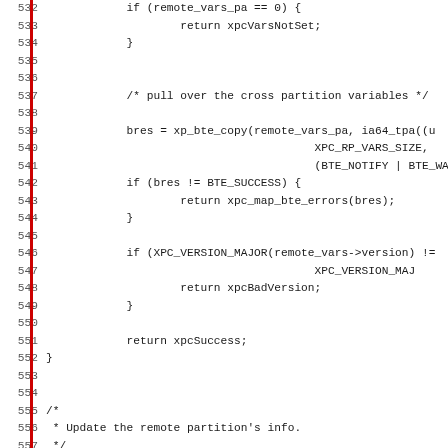Source code listing lines 532-563, C programming language showing xpc partition functions